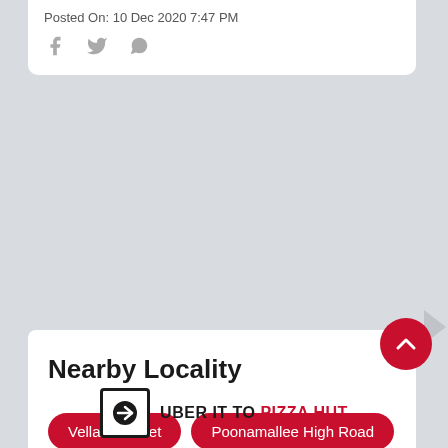Posted On: 10 Dec 2020 7:47 PM
[Figure (other): Social media share icons: Facebook, Twitter, WhatsApp]
Nearby Locality
Vellalar Street
Poonamallee High Road
Church Road
[Figure (other): Scroll to top button - red circle with upward chevron arrow]
UBER IT TO PIZZA HUT